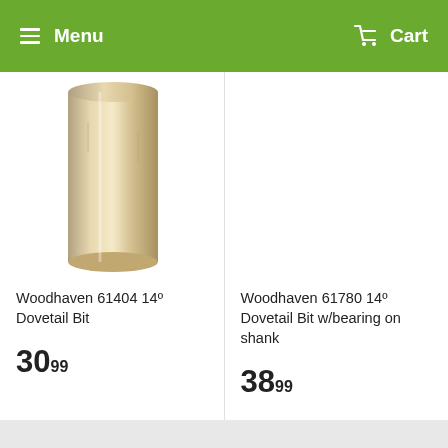Menu   Cart
[Figure (photo): Photo of a cylindrical metallic router bit (dovetail bit), shown from the top portion, with a gold/brass-toned finish.]
Woodhaven 61404 14º Dovetail Bit
30.99
Woodhaven 61780 14º Dovetail Bit w/bearing on shank
38.99